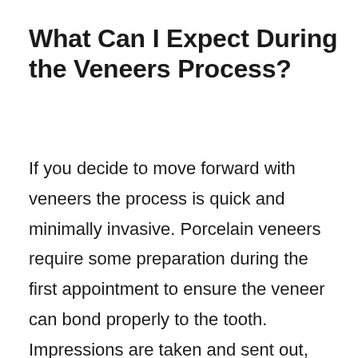What Can I Expect During the Veneers Process?
If you decide to move forward with veneers the process is quick and minimally invasive. Porcelain veneers require some preparation during the first appointment to ensure the veneer can bond properly to the tooth. Impressions are taken and sent out, and we require the patient to return for a second appointment to have their veneers placed. Temporary veneers may be used while the patient waits for their permanent veneers